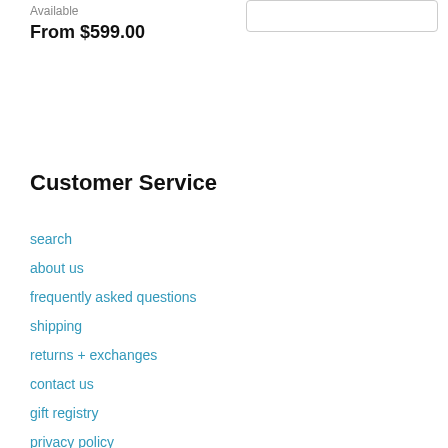Available
From $599.00
Customer Service
search
about us
frequently asked questions
shipping
returns + exchanges
contact us
gift registry
privacy policy
terms and conditions